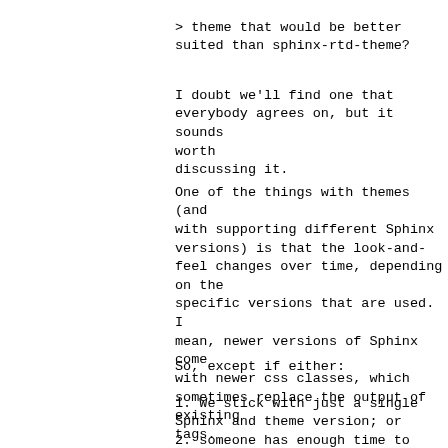> theme that would be better suited than sphinx-rtd-theme?
I doubt we'll find one that everybody agrees on, but it sounds worth discussing it.
One of the things with themes (and with supporting different Sphinx versions) is that the look-and-feel changes over time, depending on the specific versions that are used. I mean, newer versions of Sphinx come with newer css classes, which sometimes replace the output of existing tags.
So, except if either:
1. We stick with just a single Sphinx and theme version; or
2. someone has enough time to keep tracking on mapping each tag's output
   to their css classes and ensure
   that the look-and-feel will remain